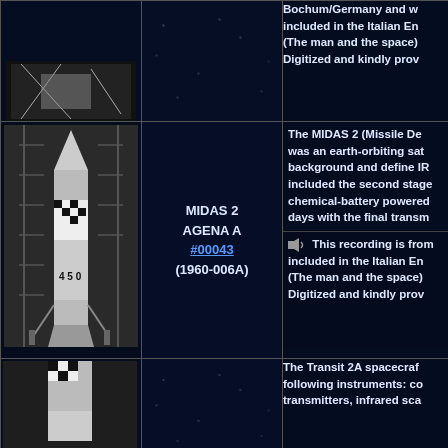Bochum/Germany and w... included in the Italian En... (The man and the space) ... Digitized and kindly prov...
[Figure (photo): Black and white photograph of the MIDAS 2 / AGENA A rocket on launch pad, showing rocket structure with checkered pattern markings and number 450]
MIDAS 2
AGENA A
#00043
(1960-006A)
The MIDAS 2 (Missile De... was an earth-orbiting sat... background and define IR... included the second stage... chemical-battery powered... days with the final transm...
This recording is from... included in the Italian En... (The man and the space) ... Digitized and kindly prov...
[Figure (photo): Partial view of a spacecraft or rocket at bottom of page]
The Transit 2A spacecraf... following instruments: co... transmitters, infrared sca...